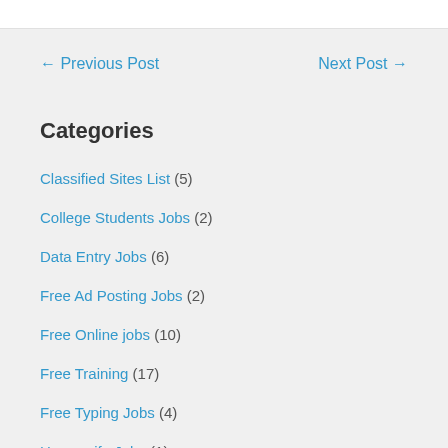← Previous Post   Next Post →
Categories
Classified Sites List (5)
College Students Jobs (2)
Data Entry Jobs (6)
Free Ad Posting Jobs (2)
Free Online jobs (10)
Free Training (17)
Free Typing Jobs (4)
Housewife Jobs (1)
Make Money Online (1)